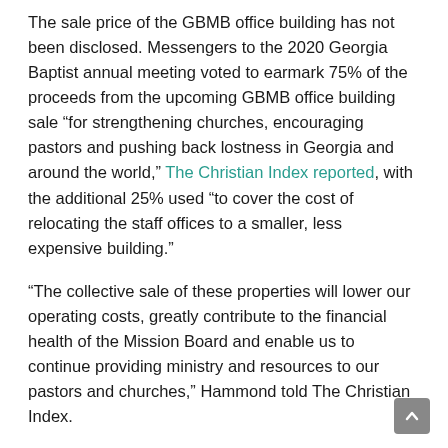The sale price of the GBMB office building has not been disclosed. Messengers to the 2020 Georgia Baptist annual meeting voted to earmark 75% of the proceeds from the upcoming GBMB office building sale “for strengthening churches, encouraging pastors and pushing back lostness in Georgia and around the world,” The Christian Index reported, with the additional 25% used “to cover the cost of relocating the staff offices to a smaller, less expensive building.”
“The collective sale of these properties will lower our operating costs, greatly contribute to the financial health of the Mission Board and enable us to continue providing ministry and resources to our pastors and churches,” Hammond told The Christian Index.
‘Progress made,’ ‘still serving Georgia